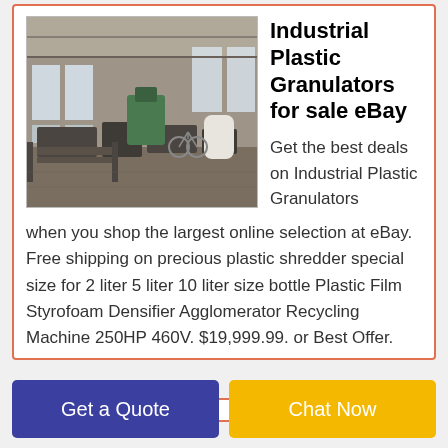[Figure (photo): Industrial warehouse interior with heavy machinery, metal frames, and factory equipment on the floor. Large windows along the wall let in light.]
Industrial Plastic Granulators for sale eBay
Get the best deals on Industrial Plastic Granulators when you shop the largest online selection at eBay. Free shipping on precious plastic shredder special size for 2 liter 5 liter 10 liter size bottle Plastic Film Styrofoam Densifier Agglomerator Recycling Machine 250HP 460V. $19,999.99. or Best Offer. SPONSORED. New ENERPAT Single
Get a Quote
Chat Now